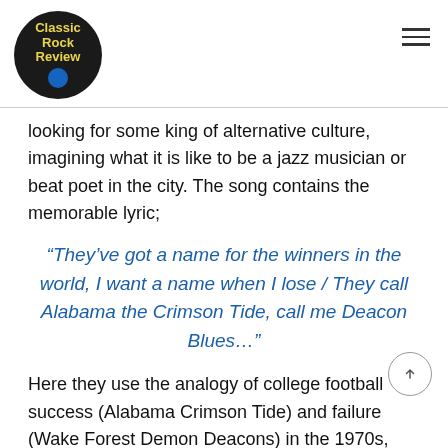Classic Rock Review
looking for some king of alternative culture, imagining what it is like to be a jazz musician or beat poet in the city. The song contains the memorable lyric;
“They’ve got a name for the winners in the world, I want a name when I lose / They call Alabama the Crimson Tide, call me Deacon Blues…”
Here they use the analogy of college football success (Alabama Crimson Tide) and failure (Wake Forest Demon Deacons) in the 1970s, stressing their